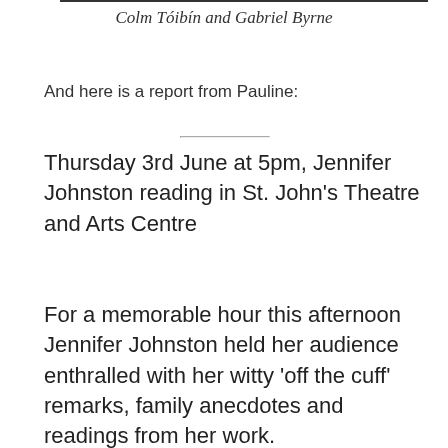Colm Tóibín and Gabriel Byrne
And here is a report from Pauline:
Thursday 3rd June at 5pm, Jennifer Johnston reading in St. John's Theatre and Arts Centre
For a memorable hour this afternoon Jennifer Johnston held her audience enthralled with her witty 'off the cuff' remarks, family anecdotes and readings from her work.